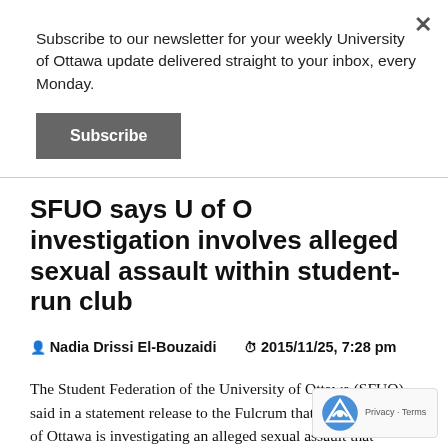Subscribe to our newsletter for your weekly University of Ottawa update delivered straight to your inbox, every Monday.
Subscribe
SFUO says U of O investigation involves alleged sexual assault within student-run club
Nadia Drissi El-Bouzaidi   2015/11/25, 7:28 pm
The Student Federation of the University of Ottawa (SFUO) said in a statement release to the Fulcrum that the University of Ottawa is investigating an alleged sexual assault that occurred within a student-run club. Contrary to a statement put out by the university yesterday pertaining to “misconduct”, the SFUO says “varsity athletes” are involved.